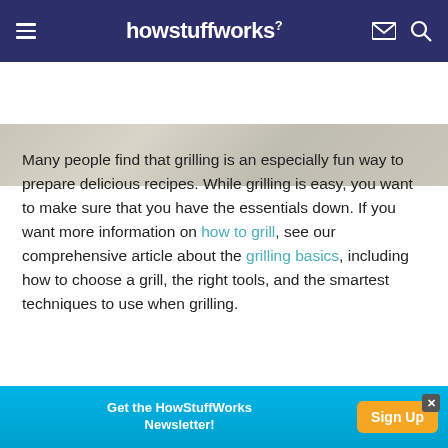howstuffworks
[Figure (photo): Partial background image of grilled food, faded/light toned]
Many people find that grilling is an especially fun way to prepare delicious recipes. While grilling is easy, you want to make sure that you have the essentials down. If you want more information on how to grill, see our comprehensive article about the grilling basics, including how to choose a grill, the right tools, and the smartest techniques to use when grilling.
There are many different methods for grilling...
[Figure (infographic): Ad banner: Get the HowStuffWorks Newsletter! with Sign Up button]